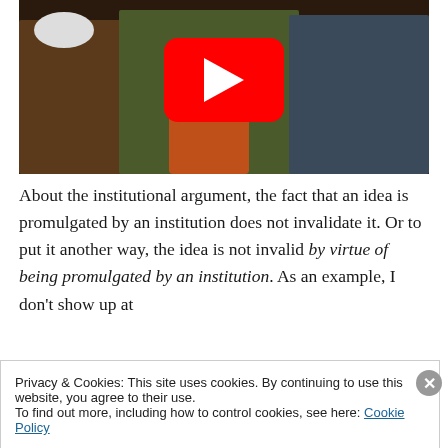[Figure (screenshot): YouTube video thumbnail showing three people sitting, with a red YouTube play button overlay in the center]
About the institutional argument, the fact that an idea is promulgated by an institution does not invalidate it. Or to put it another way, the idea is not invalid by virtue of being promulgated by an institution. As an example, I don't show up at
Privacy & Cookies: This site uses cookies. By continuing to use this website, you agree to their use.
To find out more, including how to control cookies, see here: Cookie Policy
Close and accept